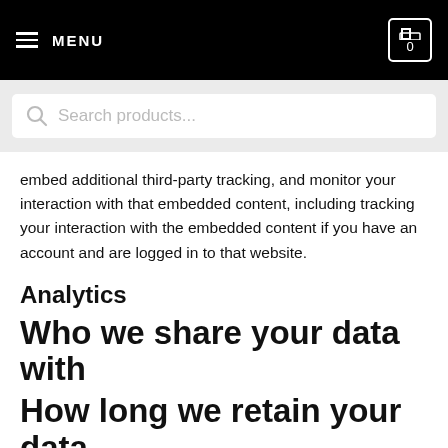MENU | 0
[Figure (screenshot): Search products... search bar]
embed additional third-party tracking, and monitor your interaction with that embedded content, including tracking your interaction with the embedded content if you have an account and are logged in to that website.
Analytics
Who we share your data with
How long we retain your data
If you leave a comment, the comment and its metadata are